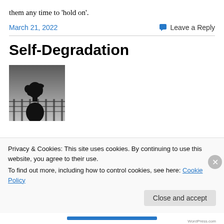them any time to 'hold on'.
March 21, 2022
Leave a Reply
Self-Degradation
[Figure (photo): Black and white photo of a person with short dark hair seen from behind, standing near a railing or balcony.]
Privacy & Cookies: This site uses cookies. By continuing to use this website, you agree to their use.
To find out more, including how to control cookies, see here: Cookie Policy